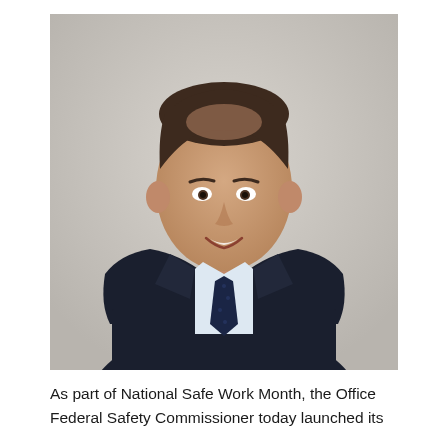[Figure (photo): Professional headshot of a man in his late 30s wearing a dark navy suit jacket, light blue dress shirt, and dark navy dotted tie. He has short dark hair and is smiling. The background is a neutral light grey/beige wall.]
As part of National Safe Work Month, the Office Federal Safety Commissioner today launched its